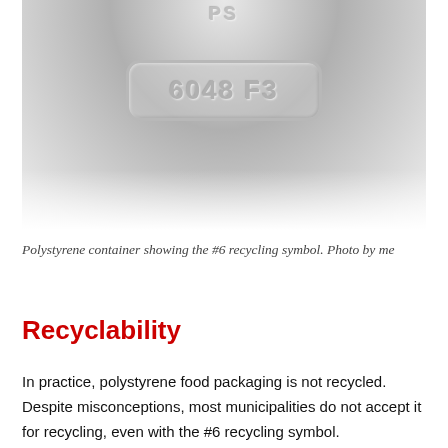[Figure (photo): Close-up photo of a polystyrene container bottom showing embossed text 'PS' at top and a rectangular rounded stamp reading '6048 F3', with grey-white plastic surface texture.]
Polystyrene container showing the #6 recycling symbol. Photo by me
Recyclability
In practice, polystyrene food packaging is not recycled. Despite misconceptions, most municipalities do not accept it for recycling, even with the #6 recycling symbol.